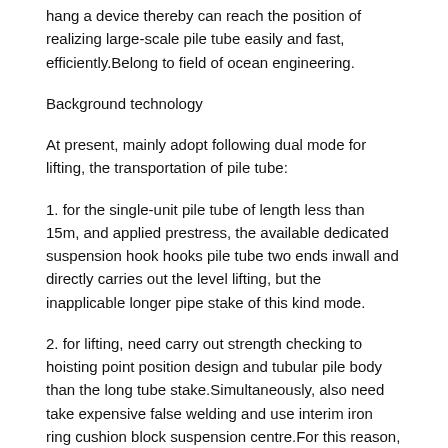hang a device thereby can reach the position of realizing large-scale pile tube easily and fast, efficiently.Belong to field of ocean engineering.
Background technology
At present, mainly adopt following dual mode for lifting, the transportation of pile tube:
1. for the single-unit pile tube of length less than 15m, and applied prestress, the available dedicated suspension hook hooks pile tube two ends inwall and directly carries out the level lifting, but the inapplicable longer pipe stake of this kind mode.
2. for lifting, need carry out strength checking to hoisting point position design and tubular pile body than the long tube stake.Simultaneously, also need take expensive false welding and use interim iron ring cushion block suspension centre.For this reason, the exploitation that requires study is adapted to the proprietary lifting appliance of ocean with pile tube, to reduce marine cost of installation.
Summary of the invention